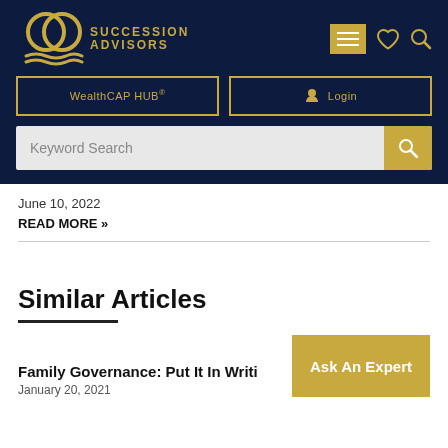[Figure (logo): Succession Advisors logo with gold interlocking circles and wave lines, gold text reading SUCCESSION ADVISORS]
[Figure (screenshot): Navigation bar with hamburger menu button (gold), heart icon, and search icon in gold on dark navy background]
WealthCAP HUB®
Login
Keyword Search
June 10, 2022
READ MORE »
Similar Articles
Family Governance: Put It In Writi
January 20, 2021
Ask An Expert